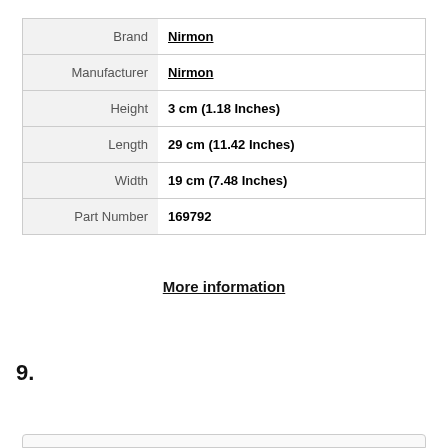| Label | Value |
| --- | --- |
| Brand | Nirmon |
| Manufacturer | Nirmon |
| Height | 3 cm (1.18 Inches) |
| Length | 29 cm (11.42 Inches) |
| Width | 19 cm (7.48 Inches) |
| Part Number | 169792 |
More information
As an Amazon Associate I earn from qualifying purchases. This website uses the only necessary cookies to ensure you get the best experience on our website. More information